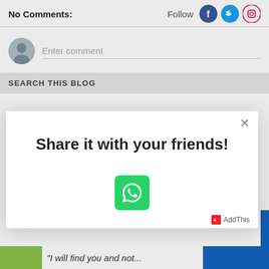No Comments:
Follow
[Figure (screenshot): Comment input area with avatar and 'Enter comment' placeholder text]
SEARCH THIS BLOG
[Figure (screenshot): Modal popup with 'Share it with your friends!' title and a WhatsApp share button, with a close (X) button and AddThis branding]
"I will find you and not...